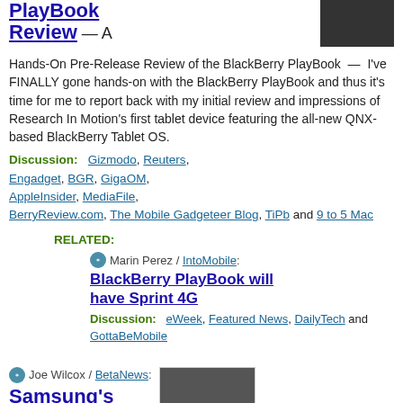PlayBook Review — A
Hands-On Pre-Release Review of the BlackBerry PlayBook — I've FINALLY gone hands-on with the BlackBerry PlayBook and thus it's time for me to report back with my initial review and impressions of Research In Motion's first tablet device featuring the all-new QNX-based BlackBerry Tablet OS.
Discussion: Gizmodo, Reuters, Engadget, BGR, GigaOM, AppleInsider, MediaFile, BerryReview.com, The Mobile Gadgeteer Blog, TiPb and 9 to 5 Mac
RELATED:
Marin Perez / IntoMobile: BlackBerry PlayBook will have Sprint 4G
Discussion: eWeek, Featured News, DailyTech and GottaBeMobile
Joe Wilcox / BetaNews: Samsung's Series 9